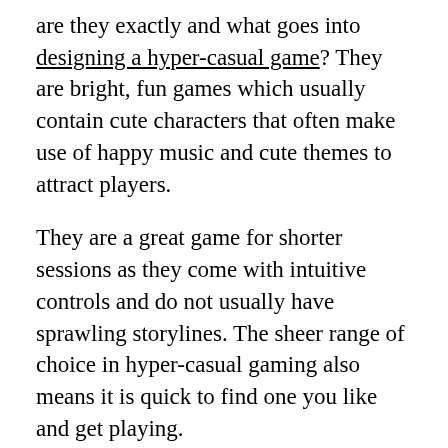are they exactly and what goes into designing a hyper-casual game? They are bright, fun games which usually contain cute characters that often make use of happy music and cute themes to attract players.
They are a great game for shorter sessions as they come with intuitive controls and do not usually have sprawling storylines. The sheer range of choice in hyper-casual gaming also means it is quick to find one you like and get playing.
Racing games